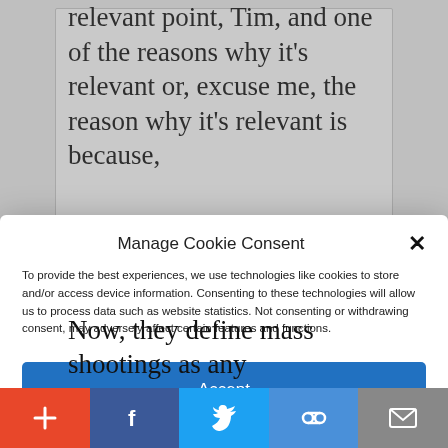relevant point, Tim, and one of the reasons why it's relevant or, excuse me, the reason why it's relevant is because,
Manage Cookie Consent
To provide the best experiences, we use technologies like cookies to store and/or access device information. Consenting to these technologies will allow us to process data such as website statistics. Not consenting or withdrawing consent, may adversely affect certain features and functions.
Accept
Cookie Policy   Privacy Policy
Now, they define mass shootings as any
+ f Twitter link mail